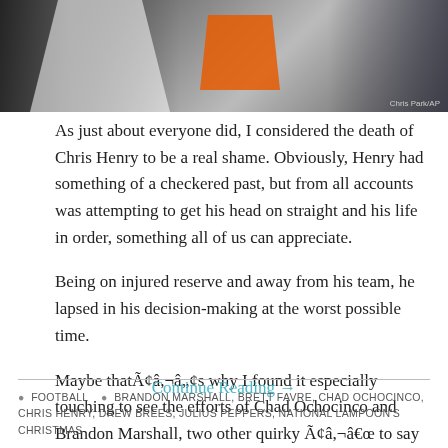[Figure (photo): Photo of football players wearing jerseys, one white jersey visible with orange logo/lettering. Photo credit: Chris Park/AP]
As just about everyone did, I considered the death of Chris Henry to be a real shame. Obviously, Henry had something of a checkered past, but from all accounts was attempting to get his head on straight and his life in order, something all of us can appreciate.
Being on injured reserve and away from his team, he lapsed in his decision-making at the worst possible time.
Maybe thatÃ¢â,¬â„¢s why I found it especially touching to see the efforts of Chad Ochocinco and Brandon Marshall, two other quirky Ã¢â,¬â€œ to say the least Ã¢â,¬â€œ wide receivers, to pay tribute to their fallen comrade.
Continue Reading →
🏈 FOOTBALL   🏈 BRANDON MARSHALL, BRETT FAVRE, CHAD OCHOCINCO, CHRIS HENRY, DREW BREES, JULIUS PEPPERS, NATIONAL LAMPOONS CHRISTMAS